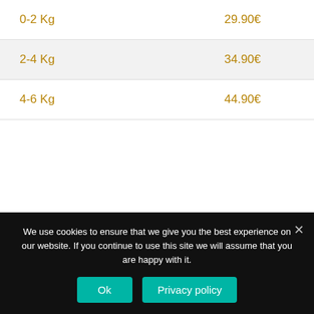| Weight | Price |
| --- | --- |
| 0-2 Kg | 29.90€ |
| 2-4 Kg | 34.90€ |
| 4-6 Kg | 44.90€ |
We are ready to offer you the products of the best
We use cookies to ensure that we give you the best experience on our website. If you continue to use this site we will assume that you are happy with it.